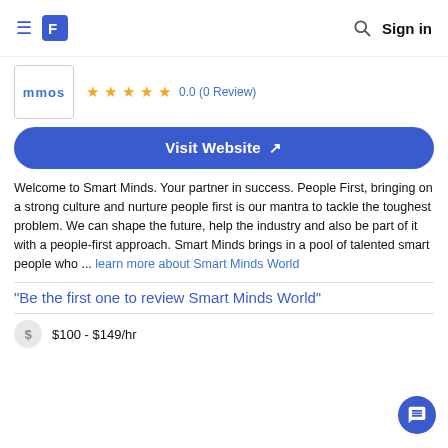≡ [logo] [search] Sign in
[Figure (logo): Smart Minds company logo box with text 'mmos' in blue]
0.0 (0 Review)
Visit Website ↗
Welcome to Smart Minds. Your partner in success. People First, bringing on a strong culture and nurture people first is our mantra to tackle the toughest problem. We can shape the future, help the industry and also be part of it with a people-first approach. Smart Minds brings in a pool of talented smart people who ... learn more about Smart Minds World
"Be the first one to review Smart Minds World"
$100 - $149/hr